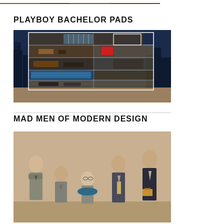[Figure (illustration): Partial top edge of a photo cropped at top of page — warm brown/reddish tones, appears to be a cropped architectural or interior photo]
PLAYBOY BACHELOR PADS
[Figure (illustration): Cross-section architectural illustration of a multi-story Playboy bachelor pad building at night, showing interior rooms including a pool, entertainment areas, bar, and various living spaces against a dark blue night sky with city skyline silhouette]
MAD MEN OF MODERN DESIGN
[Figure (photo): Black and white or muted color photograph of a group of men in suits seated and standing in an office or meeting room setting, appearing to be from the 1960s era]